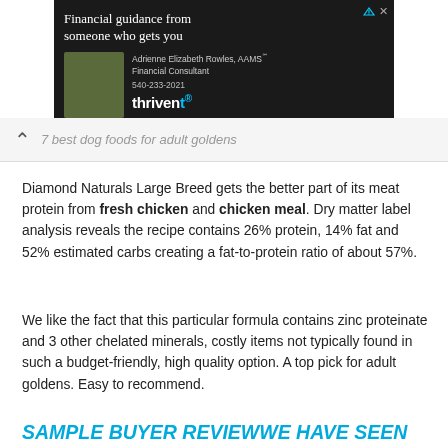[Figure (other): Thrivent financial advertisement banner with photo of Adrienne Elizabeth Rowles, AAMS, Financial Consultant, phone 540-233-2021, and Thrivent logo on dark background]
7 best dog foods for adult goldens
Diamond Naturals Large Breed gets the better part of its meat protein from fresh chicken and chicken meal. Dry matter label analysis reveals the recipe contains 26% protein, 14% fat and 52% estimated carbs creating a fat-to-protein ratio of about 57%.
We like the fact that this particular formula contains zinc proteinate and 3 other chelated minerals, costly items not typically found in such a budget-friendly, high quality option. A top pick for adult goldens. Easy to recommend.
SAMPLE BUYER REVIEWWE HAVE SEEN